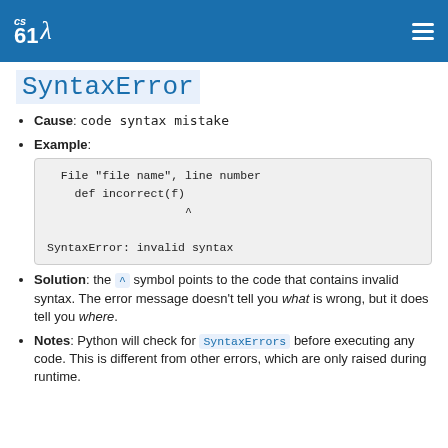cs61λ
SyntaxError
Cause: code syntax mistake
Example:
Solution: the ^ symbol points to the code that contains invalid syntax. The error message doesn't tell you what is wrong, but it does tell you where.
Notes: Python will check for SyntaxErrors before executing any code. This is different from other errors, which are only raised during runtime.